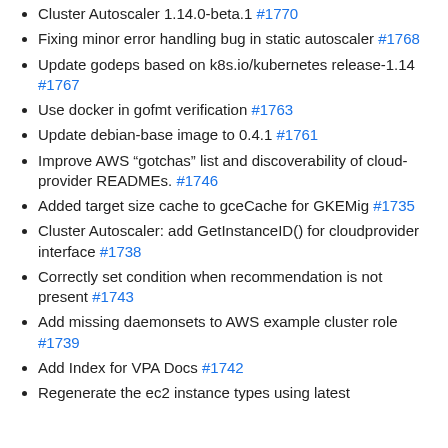Cluster Autoscaler 1.14.0-beta.1 #1770
Fixing minor error handling bug in static autoscaler #1768
Update godeps based on k8s.io/kubernetes release-1.14 #1767
Use docker in gofmt verification #1763
Update debian-base image to 0.4.1 #1761
Improve AWS “gotchas” list and discoverability of cloud-provider READMEs. #1746
Added target size cache to gceCache for GKEMig #1735
Cluster Autoscaler: add GetInstanceID() for cloudprovider interface #1738
Correctly set condition when recommendation is not present #1743
Add missing daemonsets to AWS example cluster role #1739
Add Index for VPA Docs #1742
Regenerate the ec2 instance types using latest